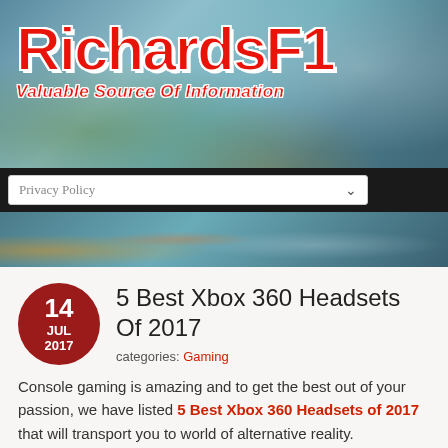[Figure (logo): RichardsF1 logo with red italic text on blurred city street background. Subtitle reads 'Valuable Source Of Information']
Privacy Policy
5 Best Xbox 360 Headsets Of 2017
categories: Gaming
Console gaming is amazing and to get the best out of your passion, we have listed 5 Best Xbox 360 Headsets of 2017 that will transport you to world of alternative reality.